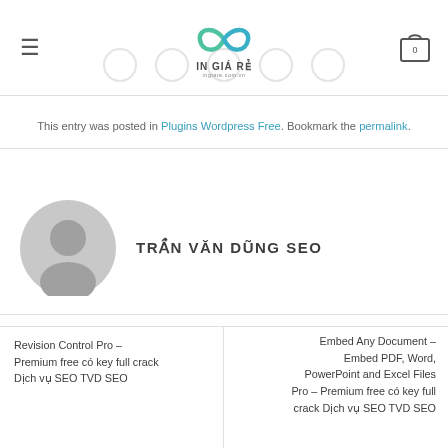IN GIÁ RẺ
This entry was posted in Plugins Wordpress Free. Bookmark the permalink.
TRẦN VĂN DŨNG SEO
Revision Control Pro – Premium free có key full crack Dịch vụ SEO TVD SEO
Embed Any Document – Embed PDF, Word, PowerPoint and Excel Files Pro – Premium free có key full crack Dịch vụ SEO TVD SEO